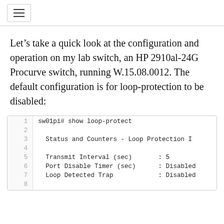[Figure (other): Hamburger menu icon in a rounded rectangle box]
Let’s take a quick look at the configuration and operation on my lab switch, an HP 2910al-24G Procurve switch, running W.15.08.0012. The default configuration is for loop-protection to be disabled:
1  sw01pi# show loop-protect
2
3    Status and Counters - Loop Protection I
4
5    Transmit Interval (sec)       : 5
6    Port Disable Timer (sec)      : Disabled
7    Loop Detected Trap            : Disabled
8